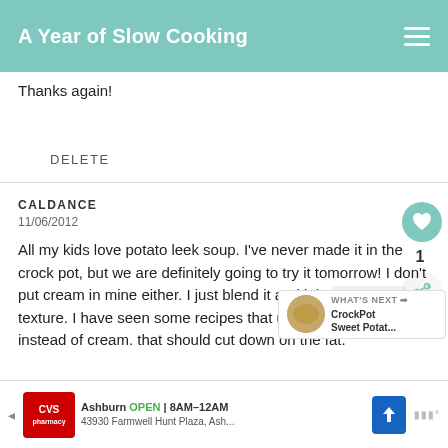A Year of Slow Cooking
Thanks again!
DELETE
CALDANCE
11/06/2012
All my kids love potato leek soup. I've never made it in the crock pot, but we are definitely going to try it tomorrow! I don't put cream in mine either. I just blend it and it ha[s a creamy] texture. I have seen some recipes that use evaporated milk instead of cream. that should cut down on the fat.
[Figure (screenshot): WHAT'S NEXT arrow label with CrockPot Sweet Potat... thumbnail overlay]
[Figure (screenshot): CVS Pharmacy advertisement bar: Ashburn OPEN 8AM-12AM, 43930 Farmwell Hunt Plaza, Ash...]